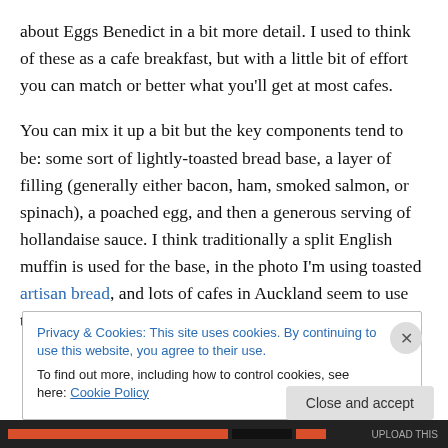about Eggs Benedict in a bit more detail. I used to think of these as a cafe breakfast, but with a little bit of effort you can match or better what you'll get at most cafes.
You can mix it up a bit but the key components tend to be: some sort of lightly-toasted bread base, a layer of filling (generally either bacon, ham, smoked salmon, or spinach), a poached egg, and then a generous serving of hollandaise sauce. I think traditionally a split English muffin is used for the base, in the photo I'm using toasted artisan bread, and lots of cafes in Auckland seem to use toasted
Privacy & Cookies: This site uses cookies. By continuing to use this website, you agree to their use.
To find out more, including how to control cookies, see here: Cookie Policy